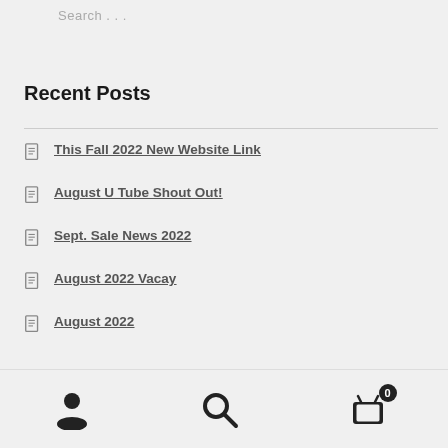Search . . .
Recent Posts
This Fall 2022 New Website Link
August U Tube Shout Out!
Sept. Sale News 2022
August 2022 Vacay
August 2022
Recent Comments
[Figure (infographic): Bottom navigation bar with user/account icon, search icon, and shopping cart icon with badge showing 0]